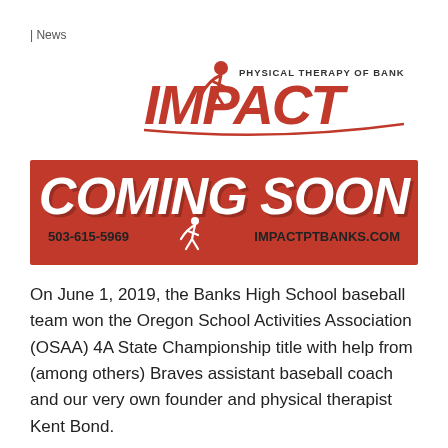| News
[Figure (logo): Impact Physical Therapy of Banks logo with red figure and italic IMPACT text]
[Figure (infographic): Red banner ad reading COMING SOON with phone number 503-615-5969 and website IMPACTPTBANKS.COM]
On June 1, 2019, the Banks High School baseball team won the Oregon School Activities Association (OSAA) 4A State Championship title with help from (among others) Braves assistant baseball coach and our very own founder and physical therapist Kent Bond.